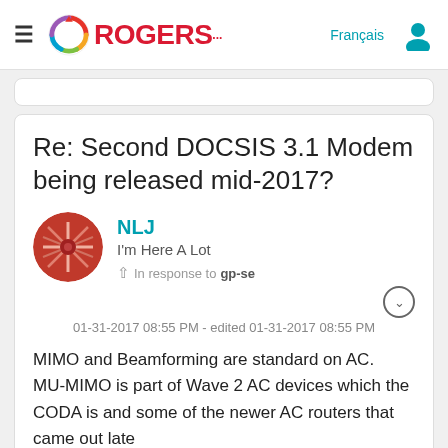Rogers
Re: Second DOCSIS 3.1 Modem being released mid-2017?
NLJ
I'm Here A Lot
In response to gp-se
01-31-2017 08:55 PM - edited 01-31-2017 08:55 PM
MIMO and Beamforming are standard on AC.
MU-MIMO is part of Wave 2 AC devices which the CODA is and some of the newer AC routers that came out late